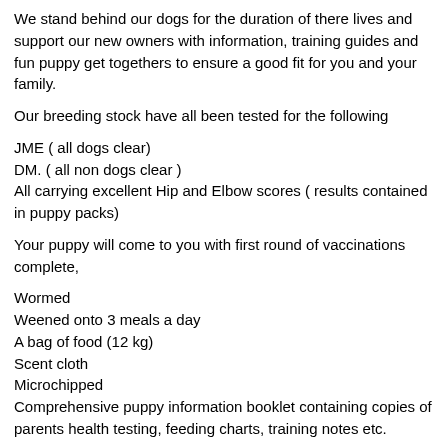We stand behind our dogs for the duration of there lives and support our new owners with information, training guides and fun puppy get togethers to ensure a good fit for you and your family.
Our breeding stock have all been tested for the following
JME ( all dogs clear)
DM. ( all non dogs clear )
All carrying excellent Hip and Elbow scores ( results contained in puppy packs)
Your puppy will come to you with first round of vaccinations complete,
Wormed
Weened onto 3 meals a day
A bag of food (12 kg)
Scent cloth
Microchipped
Comprehensive puppy information booklet containing copies of parents health testing, feeding charts, training notes etc.
We are based on a lifestyle block just outside of Pukekohe in Auckland and welcome visitors by appointment, so feel free to drop me a line to discuss your needs, and meet the Puriri Knoll pack of dogs.